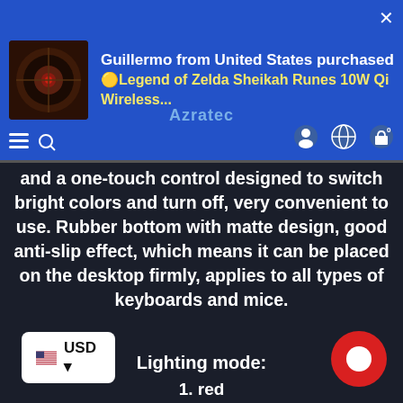[Figure (screenshot): E-commerce website notification banner showing Guillermo from United States purchased a Legend of Zelda Sheikah Runes 10W Qi Wireless product, with blue background and product image thumbnail]
and a one-touch control designed to switch bright colors and turn off, very convenient to use. Rubber bottom with matte design, good anti-slip effect, which means it can be placed on the desktop firmly, applies to all types of keyboards and mice.
Lighting mode:
1. red
2. Green
3. blue
4. violet
5. Cyan
6. yellow
7. white